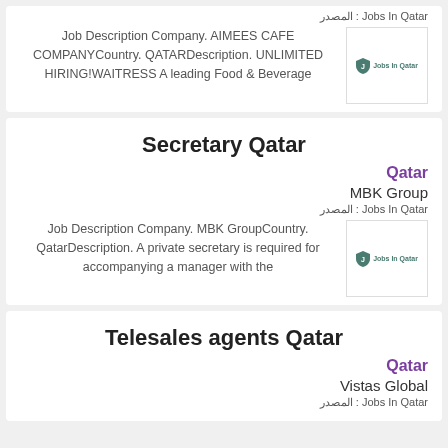المصدر : Jobs In Qatar
Job Description Company. AIMEES CAFE COMPANYCountry. QATARDescription. UNLIMITED HIRING!WAITRESS A leading Food & Beverage
Secretary Qatar
Qatar
MBK Group
المصدر : Jobs In Qatar
Job Description Company. MBK GroupCountry. QatarDescription. A private secretary is required for accompanying a manager with the
Telesales agents Qatar
Qatar
Vistas Global
المصدر : Jobs In Qatar